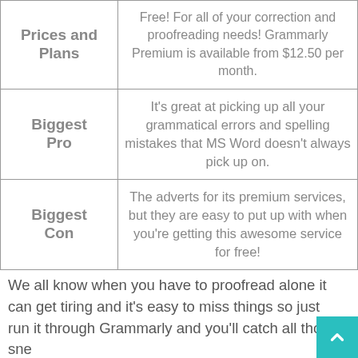|  |  |
| --- | --- |
| Prices and Plans | Free! For all of your correction and proofreading needs! Grammarly Premium is available from $12.50 per month. |
| Biggest Pro | It's great at picking up all your grammatical errors and spelling mistakes that MS Word doesn't always pick up on. |
| Biggest Con | The adverts for its premium services, but they are easy to put up with when you're getting this awesome service for free! |
We all know when you have to proofread alone it can get tiring and it's easy to miss things so just run it through Grammarly and you'll catch all those sneaky typos.